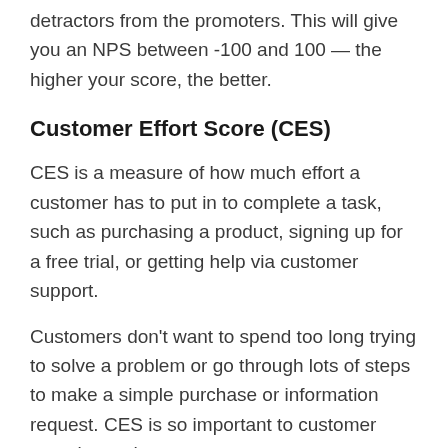detractors from the promoters. This will give you an NPS between -100 and 100 — the higher your score, the better.
Customer Effort Score (CES)
CES is a measure of how much effort a customer has to put in to complete a task, such as purchasing a product, signing up for a free trial, or getting help via customer support.
Customers don't want to spend too long trying to solve a problem or go through lots of steps to make a simple purchase or information request. CES is so important to customer experience that